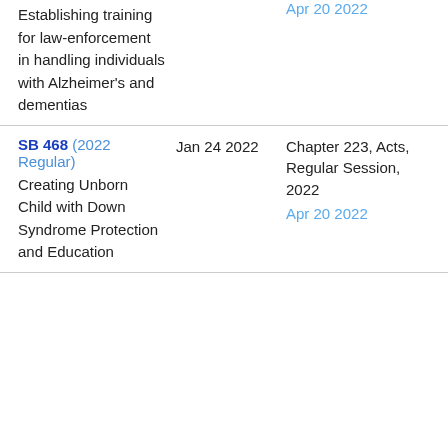Establishing training for law-enforcement in handling individuals with Alzheimer's and dementias | Apr 20 2022
SB 468 (2022 Regular) | Jan 24 2022 | Chapter 223, Acts, Regular Session, 2022 | Apr 20 2022 | Creating Unborn Child with Down Syndrome Protection and Education